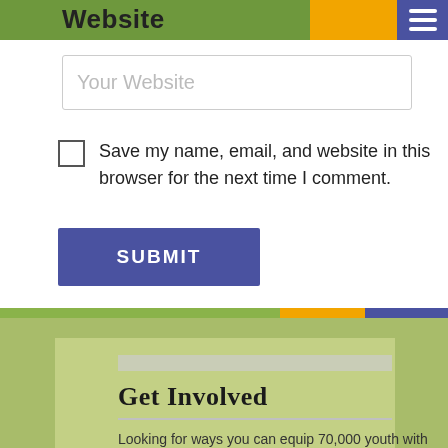Website
Your Website
Save my name, email, and website in this browser for the next time I comment.
SUBMIT
Get Involved
Looking for ways you can equip 70,000 youth with